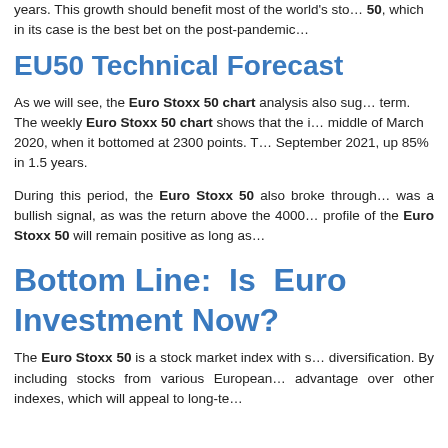years. This growth should benefit most of the world's sto… 50, which in its case is the best bet on the post-pandemic…
EU50 Technical Forecast
As we will see, the Euro Stoxx 50 chart analysis also sug… term. The weekly Euro Stoxx 50 chart shows that the i… middle of March 2020, when it bottomed at 2300 points. T… September 2021, up 85% in 1.5 years.
During this period, the Euro Stoxx 50 also broke through… was a bullish signal, as was the return above the 4000… profile of the Euro Stoxx 50 will remain positive as long as…
Bottom Line: Is Euro Investment Now?
The Euro Stoxx 50 is a stock market index with s… diversification. By including stocks from various European… advantage over other indexes, which will appeal to long-te…